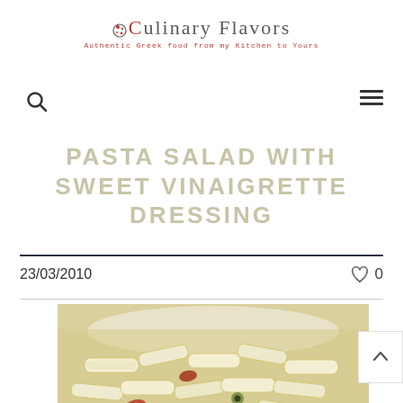Culinary Flavors — Authentic Greek food from my Kitchen to Yours
PASTA SALAD WITH SWEET VINAIGRETTE DRESSING
23/03/2010
0
[Figure (photo): Bowl of penne pasta salad with sweet vinaigrette dressing, olives, corn, and red peppers]